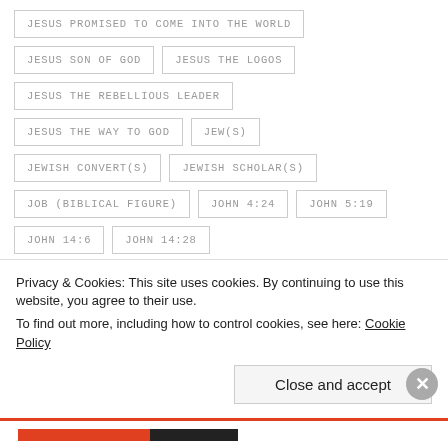JESUS PROMISED TO COME INTO THE WORLD
JESUS SON OF GOD
JESUS THE LOGOS
JESUS THE REBELLIOUS LEADER
JESUS THE WAY TO GOD
JEW(S)
JEWISH CONVERT(S)
JEWISH SCHOLAR(S)
JOB (BIBLICAL FIGURE)
JOHN 4:24
JOHN 5:19
JOHN 14:6
JOHN 14:28
JOHN GEORGE TAYLOR (OR J.E. TAYLOR - BRITISH OFFICIAL OF THE FOREIGN OFFICE +
Privacy & Cookies: This site uses cookies. By continuing to use this website, you agree to their use.
To find out more, including how to control cookies, see here: Cookie Policy
Close and accept